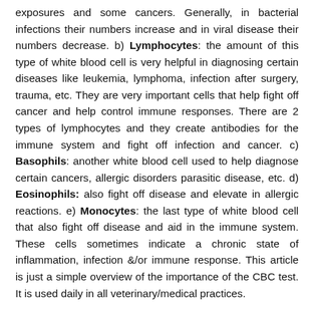exposures and some cancers. Generally, in bacterial infections their numbers increase and in viral disease their numbers decrease. b) Lymphocytes: the amount of this type of white blood cell is very helpful in diagnosing certain diseases like leukemia, lymphoma, infection after surgery, trauma, etc. They are very important cells that help fight off cancer and help control immune responses. There are 2 types of lymphocytes and they create antibodies for the immune system and fight off infection and cancer. c) Basophils: another white blood cell used to help diagnose certain cancers, allergic disorders parasitic disease, etc. d) Eosinophils: also fight off disease and elevate in allergic reactions. e) Monocytes: the last type of white blood cell that also fight off disease and aid in the immune system. These cells sometimes indicate a chronic state of inflammation, infection &/or immune response. This article is just a simple overview of the importance of the CBC test. It is used daily in all veterinary/medical practices.